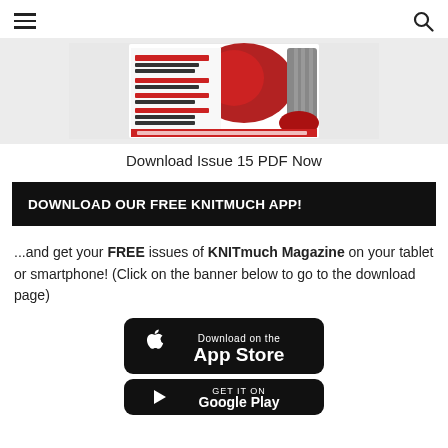Navigation header with hamburger menu and search icon
[Figure (photo): Magazine cover of KNITmuch showing knitted items including a red hat and grey cable knit sweater on a grey background]
Download Issue 15 PDF Now
DOWNLOAD OUR FREE KNITMUCH APP!
...and get your FREE issues of KNITmuch Magazine on your tablet or smartphone! (Click on the banner below to go to the download page)
[Figure (screenshot): Download on the App Store button (black rounded rectangle with Apple logo)]
[Figure (screenshot): GET IT ON Google Play button (black rounded rectangle, partial)]